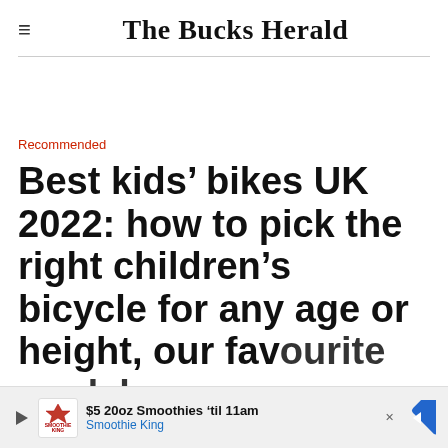The Bucks Herald
Recommended
Best kids’ bikes UK 2022: how to pick the right children’s bicycle for any age or height, our favourite models
[Figure (infographic): Advertisement banner for Smoothie King: '$5 20oz Smoothies ’til 11am' with Smoothie King logo, play/close icons, and a blue diamond arrow icon]